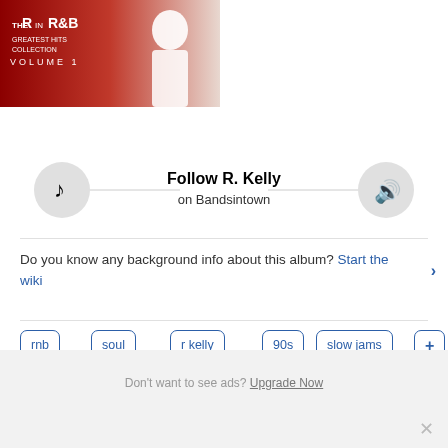[Figure (photo): Album cover thumbnail for R in R&B Greatest Hits Collection Volume 1, red background with artist image]
[Figure (infographic): Follow R. Kelly on Bandsintown banner with music note icon on left and speaker icon on right connected by a horizontal line]
Do you know any background info about this album? Start the wiki
rnb
soul
r kelly
90s
slow jams
View all tags
Don't want to see ads? Upgrade Now